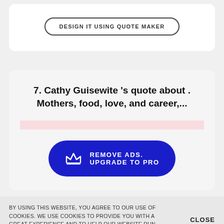[Figure (screenshot): Button labeled DESIGN IT USING QUOTE MAKER inside a white rounded card]
7. Cathy Guisewite 's quote about . Mothers, food, love, and career,...
[Figure (infographic): Blue pill-shaped button with crown icon: REMOVE ADS. UPGRADE TO PRO]
BY USING THIS WEBSITE, YOU AGREE TO OUR USE OF COOKIES. WE USE COOKIES TO PROVIDE YOU WITH A GREAT EXPERIENCE AND TO HELP OUR WEBSITE RUN EFFECTIVELY. READ OUR PRIVACY POLICY
CLOSE